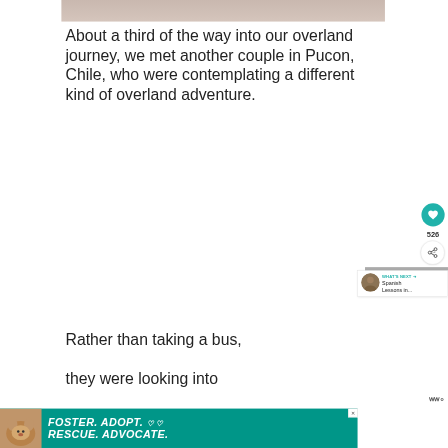[Figure (photo): Partial photo visible at the top of the page, cropped.]
About a third of the way into our overland journey, we met another couple in Pucon, Chile, who were contemplating a different kind of overland adventure.
[Figure (other): Heart/like button icon in teal circle with count 526 below it, and a share button below that.]
526
[Figure (screenshot): WHAT'S NEXT panel showing a thumbnail and text 'Spanish Lessons in...']
Rather than taking a bus, they were looking into
[Figure (other): Advertisement banner: FOSTER. ADOPT. RESCUE. ADVOCATE. with a dog image on the left, teal background.]